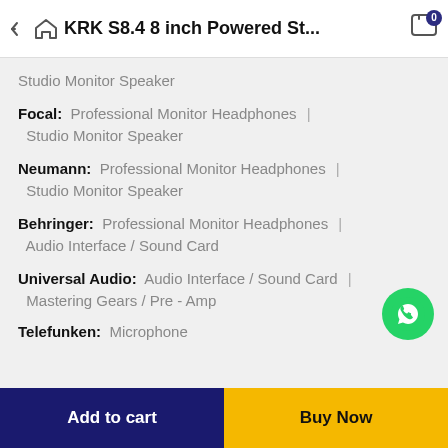KRK S8.4 8 inch Powered St...
Studio Monitor Speaker
Focal: Professional Monitor Headphones | Studio Monitor Speaker
Neumann: Professional Monitor Headphones | Studio Monitor Speaker
Behringer: Professional Monitor Headphones | Audio Interface / Sound Card
Universal Audio: Audio Interface / Sound Card | Mastering Gears / Pre - Amp
Telefunken: Microphone
[Figure (logo): WhatsApp green circle button]
Add to cart | Buy Now